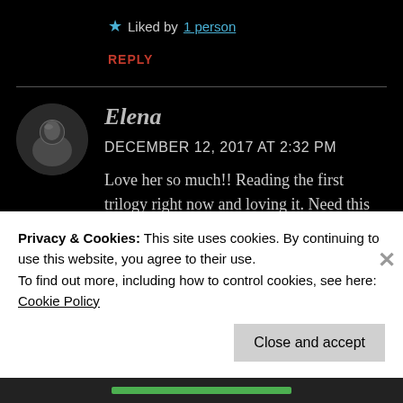★ Liked by 1 person
REPLY
Elena
DECEMBER 12, 2017 AT 2:32 PM
Love her so much!! Reading the first trilogy right now and loving it. Need this 😍😍
Privacy & Cookies: This site uses cookies. By continuing to use this website, you agree to their use. To find out more, including how to control cookies, see here: Cookie Policy
Close and accept